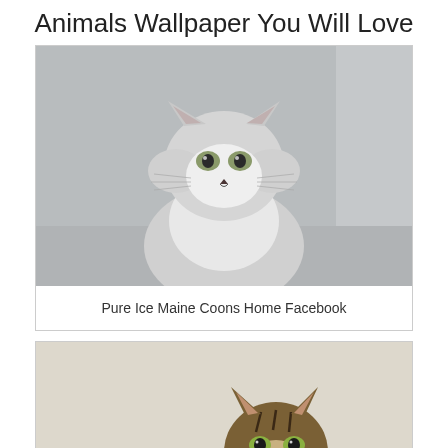Animals Wallpaper You Will Love
[Figure (photo): A fluffy grey/silver kitten (Maine Coon) sitting and facing forward against a light grey background]
Pure Ice Maine Coons Home Facebook
[Figure (photo): A tabby Maine Coon kitten with striped markings sitting on a light beige surface, facing forward]